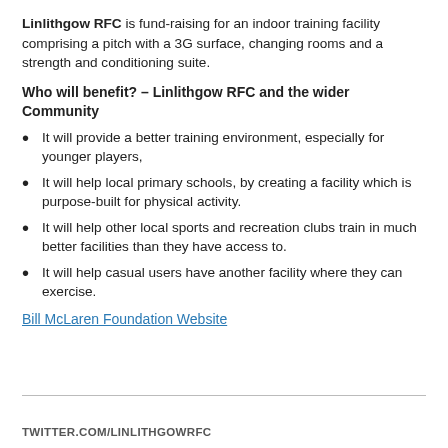Linlithgow RFC is fund-raising for an indoor training facility comprising a pitch with a 3G surface, changing rooms and a strength and conditioning suite.
Who will benefit?  – Linlithgow RFC and the wider Community
It will provide a better training environment, especially for younger players,
It will help local primary schools, by creating a facility which is purpose-built for physical activity.
It will help other local sports and recreation clubs train in much better facilities than they have access to.
It will help casual users have another facility where they can exercise.
Bill McLaren Foundation Website
TWITTER.COM/LINLITHGOWRFC